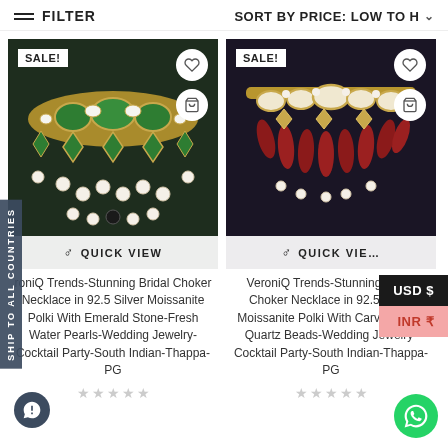FILTER | SORT BY PRICE: LOW TO H
[Figure (photo): Green emerald and pearl bridal choker necklace jewelry on dark background with SALE badge, heart icon, cart icon, and QUICK VIEW bar]
[Figure (photo): Ruby quartz and pearl bridal choker necklace jewelry on dark background with SALE badge, heart icon, cart icon, and QUICK VIEW bar]
VroniQ Trends-Stunning Bridal Choker Necklace in 92.5 Silver Moissanite Polki With Emerald Stone-Fresh Water Pearls-Wedding Jewelry-Cocktail Party-South Indian-Thappa-PG
VeroniQ Trends-Stunning Bridal Choker Necklace in 92.5 Silver Moissanite Polki With Carved Ruby Quartz Beads-Wedding Jewelry-Cocktail Party-South Indian-Thappa-PG